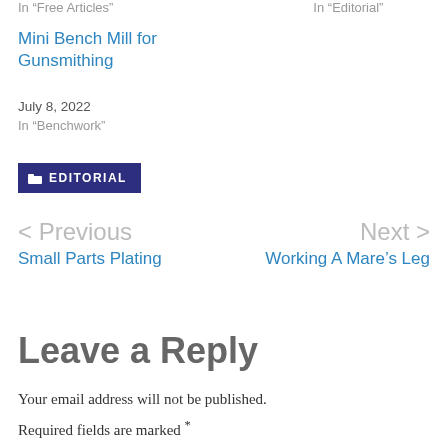In "Free Articles"
In "Editorial"
Mini Bench Mill for Gunsmithing
July 8, 2022
In "Benchwork"
EDITORIAL
< Previous
Small Parts Plating
Next >
Working A Mare's Leg
Leave a Reply
Your email address will not be published.
Required fields are marked *